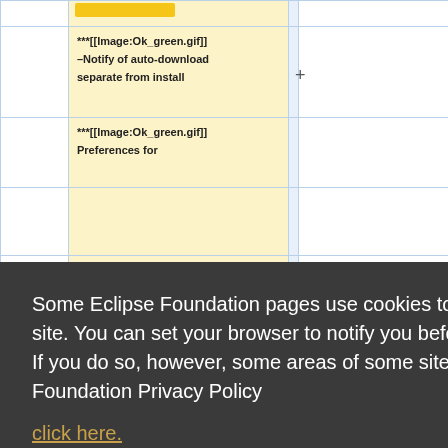|  | ***[[Image:Ok_green.gif]] –Notify of auto-download separate from install | + |  |
|  | ***[[Image:Ok_green.gif]] Preferences for |  |  |
|  | [https://bugs.eclipse.org/... |  |  |
Some Eclipse Foundation pages use cookies to better serve you when you return to the site. You can set your browser to notify you before you receive a cookie or turn off cookies. If you do so, however, some areas of some sites may not function properly. To read Eclipse Foundation Privacy Policy click here.
Decline | Allow cookies